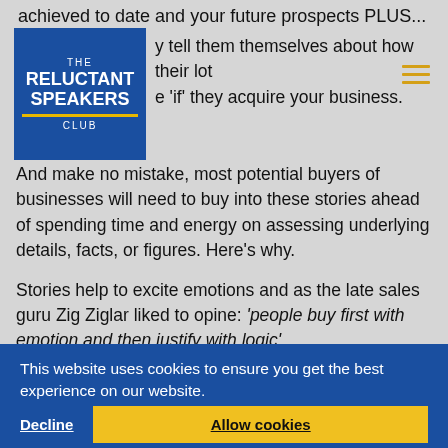achieved to date and your future prospects PLUS...
[Figure (logo): The Reluctant Speakers Club logo - blue box with white text and yellow underline]
...tell them themselves about how their lot e 'if' they acquire your business.
And make no mistake, most potential buyers of businesses will need to buy into these stories ahead of spending time and energy on assessing underlying details, facts, or figures. Here's why.
Stories help to excite emotions and as the late sales guru Zig Ziglar liked to opine: 'people buy first with emotion and then justify with logic'
This website uses cookies to ensure you get the best experience on our website.
Learn more
Decline
Allow cookies